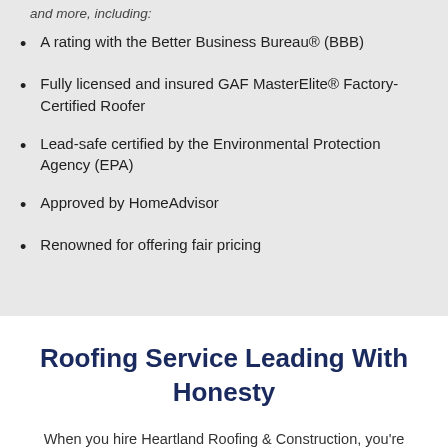A rating with the Better Business Bureau® (BBB)
Fully licensed and insured GAF MasterElite® Factory-Certified Roofer
Lead-safe certified by the Environmental Protection Agency (EPA)
Approved by HomeAdvisor
Renowned for offering fair pricing
Roofing Service Leading With Honesty
When you hire Heartland Roofing & Construction, you're hiring the Live Oak roofing experts who've served South and Central Texas for years with honesty and integrity. We work hard to ensure your roof is finished within budget and in a timely